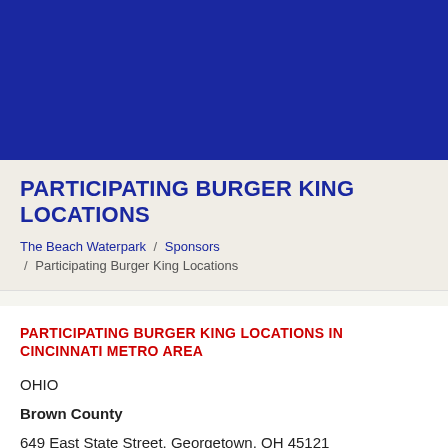[Figure (other): Dark blue banner/header image area at top of page]
PARTICIPATING BURGER KING LOCATIONS
The Beach Waterpark / Sponsors / Participating Burger King Locations
PARTICIPATING BURGER KING LOCATIONS IN CINCINNATI METRO AREA
OHIO
Brown County
649 East State Street, Georgetown, OH 45121